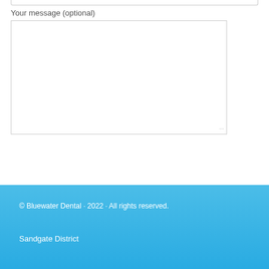Your message (optional)
Submit
© Bluewater Dental · 2022 · All rights reserved.
Sandgate District